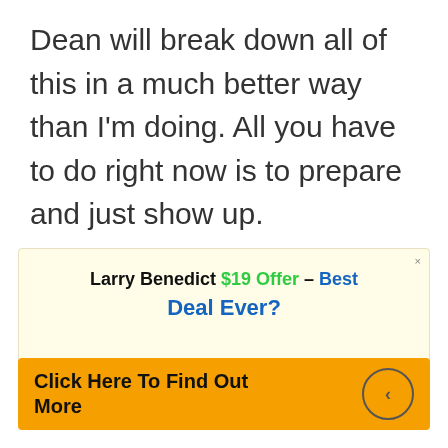Dean will break down all of this in a much better way than I'm doing. All you have to do right now is to prepare and just show up.
[Figure (infographic): Advertisement box with cream background. Title reads 'Larry Benedict $19 Offer – Best Deal Ever?' with a close button. Below is an orange CTA bar reading 'Click Here To Find Out More' with a circle arrow icon.]